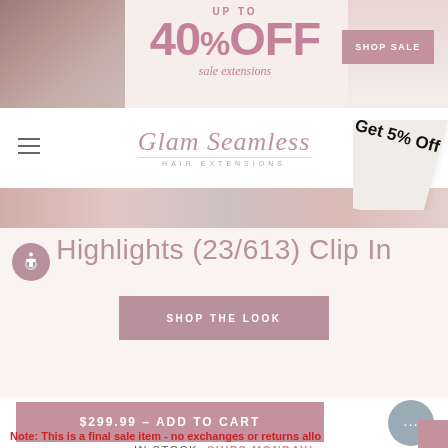[Figure (screenshot): Promotional banner: UP TO 40% OFF sale extensions with SHOP SALE button and model photo]
[Figure (logo): Glam Seamless Hair Extensions logo in script font]
[Figure (infographic): Get 5% Off promotional tag rotated diagonally in top-right corner]
Highlights (23/613) Clip In
[Figure (screenshot): SHOP THE LOOK button in mauve/rose color]
[Figure (screenshot): $299.99 - ADD TO CART button in mauve/rose color]
Note: This is a final sale item - no exchanges or returns allo
IN STOCK: SHIPS MONDAY!